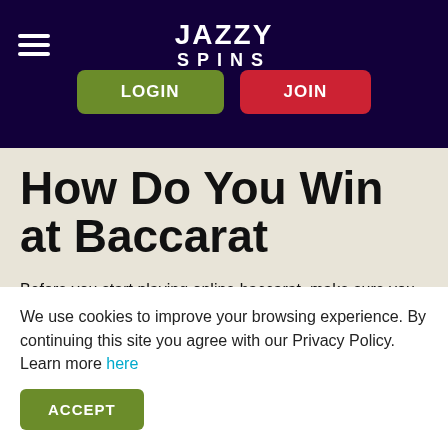JAZZY SPINS — Navigation bar with LOGIN and JOIN buttons
How Do You Win at Baccarat
Before you start playing online baccarat, make sure you know the cards' value:
Aces count as 1:
We use cookies to improve your browsing experience. By continuing this site you agree with our Privacy Policy. Learn more here